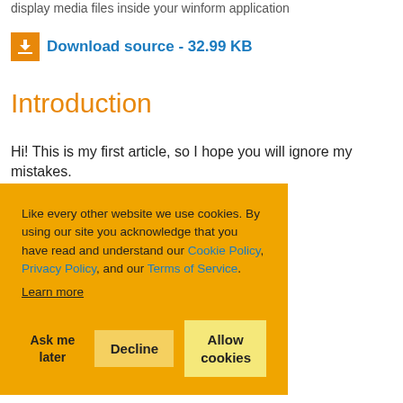display media files inside your winform application
Download source - 32.99 KB
Introduction
Hi! This is my first article, so I hope you will ignore my mistakes.
...yer to easily ...application ...ol.
...we need to
...hat page, we ...player.
...built his view from...
Like every other website we use cookies. By using our site you acknowledge that you have read and understand our Cookie Policy, Privacy Policy, and our Terms of Service. Learn more
Ask me later | Decline | Allow cookies